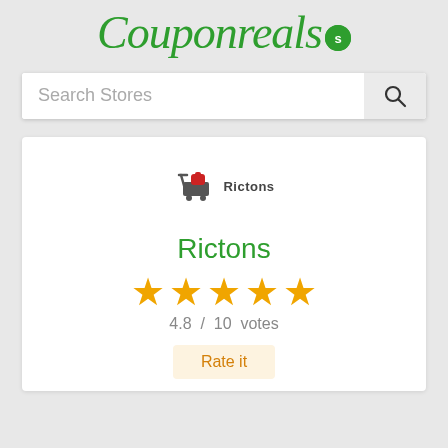Couponreals
Search Stores
[Figure (logo): Rictons store logo: a shopping cart with a red bag, and the text 'Rictons' beside it]
Rictons
★★★★★
4.8 / 10 votes
Rate it